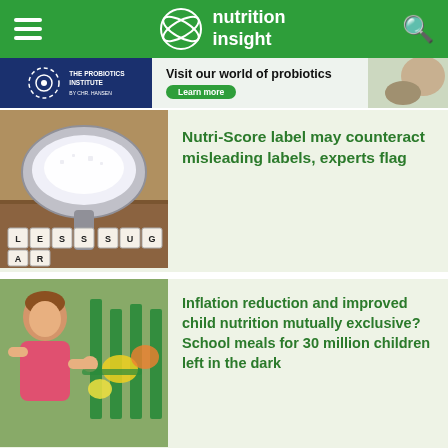nutrition insight
[Figure (photo): The Probiotics Institute banner ad with 'Visit our world of probiotics' and 'Learn more' button]
[Figure (photo): Spoon of sugar with letter blocks spelling LESS SUGAR on a wooden surface]
Nutri-Score label may counteract misleading labels, experts flag
[Figure (photo): Young girl shopping in a grocery store with green carts and colorful produce]
Inflation reduction and improved child nutrition mutually exclusive? School meals for 30 million children left in the dark